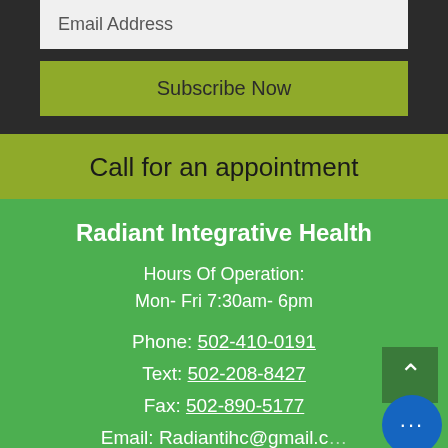Email Address
Subscribe Now
Call for an appointment
Radiant Integrative Health
Hours Of Operation:
Mon- Fri 7:30am- 6pm
Phone: 502-410-0191
Text: 502-208-8427
Fax: 502-890-5177
Email: Radiantihc@gmail.c...